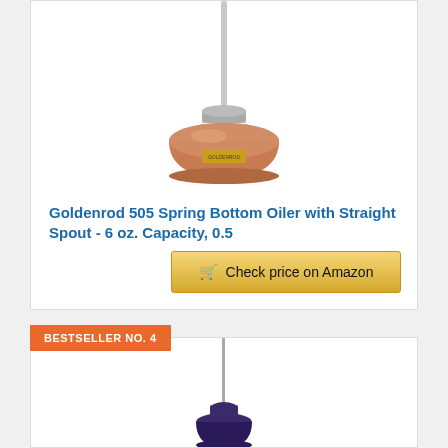[Figure (photo): Goldenrod 505 Spring Bottom Oiler product photo showing a copper/bronze colored dome-shaped oil can with a long straight silver spout, silver metal cap on top]
Goldenrod 505 Spring Bottom Oiler with Straight Spout - 6 oz. Capacity, 0.5
Check price on Amazon
BESTSELLER NO. 4
[Figure (photo): Bottom portion of a product photo showing a dark blue/purple oil can or similar tool on a white background]